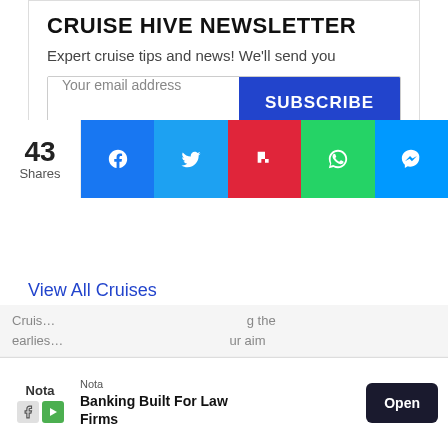CRUISE HIVE NEWSLETTER
Expert cruise tips and news! We'll send you
[Figure (screenshot): Social share bar with 43 Shares count and buttons: Facebook (blue), Twitter (blue), Flipboard (red), WhatsApp (green), Messenger (light blue)]
Your email address [input field] SUBSCRIBE [button]
View All Cruises
Powered by Cruiseline.com
Cruis... g the earlies... ur aim
[Figure (screenshot): Ad banner: Nota logo, 'Banking Built For Law Firms', Open button]